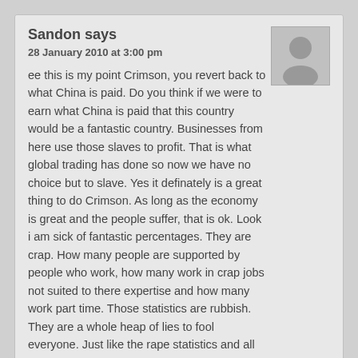Sandon says
28 January 2010 at 3:00 pm
ee this is my point Crimson, you revert back to what China is paid. Do you think if we were to earn what China is paid that this country would be a fantastic country. Businesses from here use those slaves to profit. That is what global trading has done so now we have no choice but to slave. Yes it definately is a great thing to do Crimson. As long as the economy is great and the people suffer, that is ok. Look i am sick of fantastic percentages. They are crap. How many people are supported by people who work, how many work in crap jobs not suited to there expertise and how many work part time. Those statistics are rubbish. They are a whole heap of lies to fool everyone. Just like the rape statistics and all the other crap to divide and rule. That is all it amounts to.
Reply
Sandon says